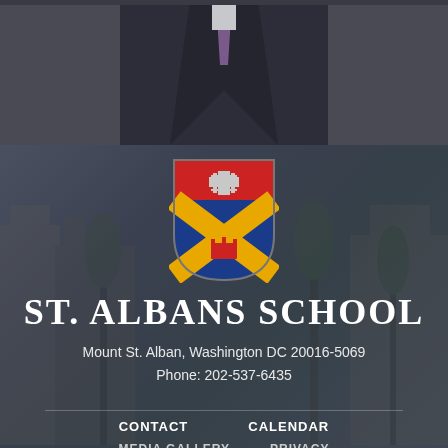[Figure (photo): Portrait photo of a person in a dark suit with purple tie, cropped at the top of the page]
[Figure (logo): St. Albans School heraldic shield — red top with silver cross of Jerusalem, blue bottom with yellow saltire cross and red crenellated crown]
ST. ALBANS SCHOOL
Mount St. Alban, Washington DC 20016-5069
Phone: 202-537-6435
CONTACT
CALENDAR
MEDIA GALLERY
PRIVACY